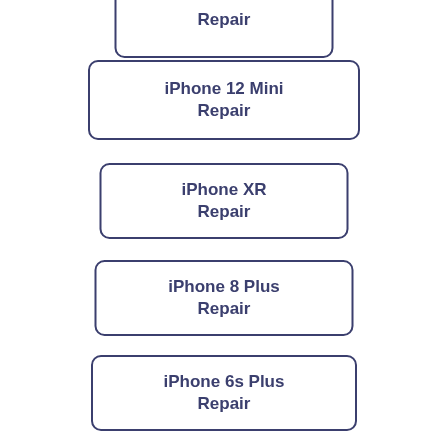Repair
iPhone 12 Mini Repair
iPhone XR Repair
iPhone 8 Plus Repair
iPhone 6s Plus Repair
iPhone SE